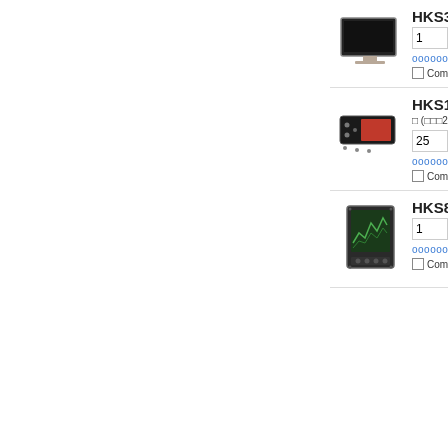[Figure (photo): Product listing page cropped. Left white area. Right panel shows three product rows each with product image, price in HKD, quantity input, add to cart button, wishlist link, and compare checkbox.]
HKS325
1
oooooo
Compa...
HKS177
□ (□□□25)
25
oooooo
Compa...
HKS874
1
oooooo
Compa...